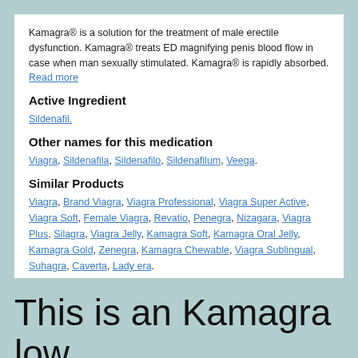Kamagra® is a solution for the treatment of male erectile dysfunction. Kamagra® treats ED magnifying penis blood flow in case when man sexually stimulated. Kamagra® is rapidly absorbed. Read more
Active Ingredient
Sildenafil.
Other names for this medication
Viagra, Sildenafila, Sildenafilo, Sildenafilum, Veega.
Similar Products
Viagra, Brand Viagra, Viagra Professional, Viagra Super Active, Viagra Soft, Female Viagra, Revatio, Penegra, Nizagara, Viagra Plus, Silagra, Viagra Jelly, Kamagra Soft, Kamagra Oral Jelly, Kamagra Gold, Zenegra, Kamagra Chewable, Viagra Sublingual, Suhagra, Caverta, Lady era.
Ingredients
Microcrystalline Cellulose, Anhydrous Dibasic Calcium Phosphate, Croscarmellose Sodium, Magnesium Stearate, Hypromellose, Titanium Dioxide, Lactose, Triacetin, Fd and C Blue #2 Aluminum Lake.
This is an Kamagra low